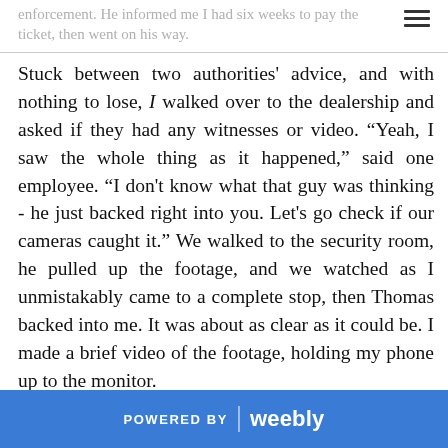enforcement.  He informed me I had six weeks to pay the ticket, then went on his way.
Stuck between two authorities' advice, and with nothing to lose, I walked over to the dealership and asked if they had any witnesses or video. “Yeah, I saw the whole thing as it happened,” said one employee. “I don't know what that guy was thinking - he just backed right into you. Let's go check if our cameras caught it.” We walked to the security room, he pulled up the footage, and we watched as I unmistakably came to a complete stop, then Thomas backed into me. It was about as clear as it could be. I made a brief video of the footage, holding my phone up to the monitor.
POWERED BY weebly